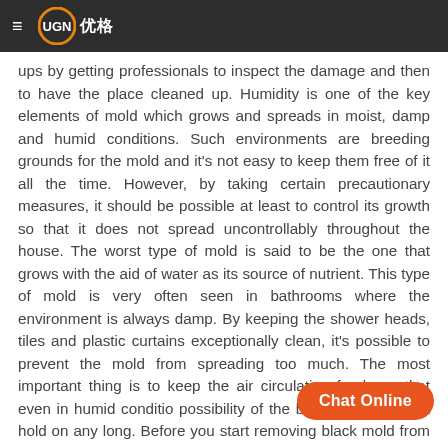UGN 优格
ups by getting professionals to inspect the damage and then to have the place cleaned up. Humidity is one of the key elements of mold which grows and spreads in moist, damp and humid conditions. Such environments are breeding grounds for the mold and it's not easy to keep them free of it all the time. However, by taking certain precautionary measures, it should be possible at least to control its growth so that it does not spread uncontrollably throughout the house. The worst type of mold is said to be the one that grows with the aid of water as its source of nutrient. This type of mold is very often seen in bathrooms where the environment is always damp. By keeping the shower heads, tiles and plastic curtains exceptionally clean, it's possible to prevent the mold from spreading too much. The most important thing is to keep the air circulating freely so that even in humid conditio... possibility of the black mold taking a hold on any... long. Before you start removing black mold from a particular room in